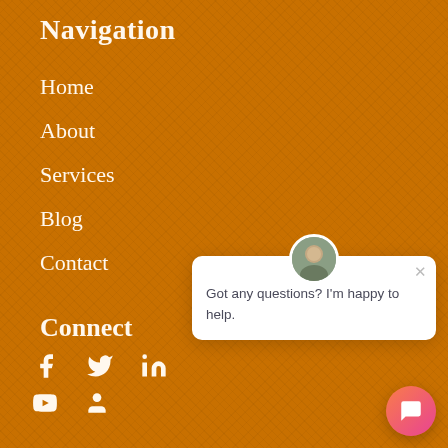Navigation
Home
About
Services
Blog
Contact
Connect
[Figure (infographic): Social media icons: Facebook, Twitter, LinkedIn (row 1), YouTube, User/profile icon (row 2)]
[Figure (screenshot): Chat popup widget with avatar photo of a man, close X button, and text: Got any questions? I'm happy to help.]
[Figure (other): Orange-pink gradient circular chat button with speech bubble icon in the bottom-right corner]